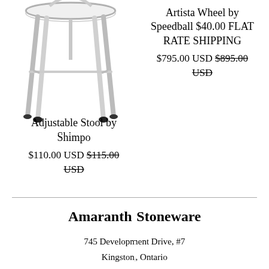[Figure (photo): Photo of an adjustable stool with four legs and a round seat, white/light colored, partial view cropped at top]
Artista Wheel by Speedball $40.00 FLAT RATE SHIPPING
$795.00 USD $895.00 USD
Adjustable Stool by Shimpo
$110.00 USD $115.00 USD
Amaranth Stoneware
745 Development Drive, #7
Kingston, Ontario